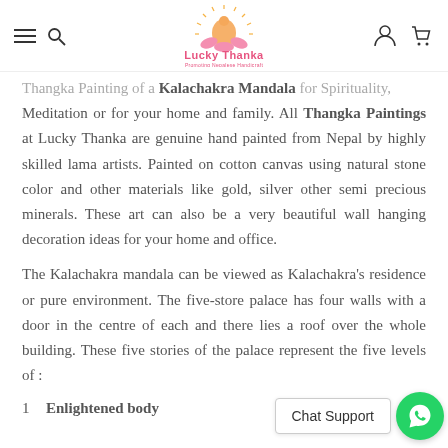Lucky Thanka - Promoting Nepalese Handicraft
Thangka Painting of a Kalachakra Mandala for Spirituality, Meditation or for your home and family. All Thangka Paintings at Lucky Thanka are genuine hand painted from Nepal by highly skilled lama artists. Painted on cotton canvas using natural stone color and other materials like gold, silver other semi precious minerals. These art can also be a very beautiful wall hanging decoration ideas for your home and office.
The Kalachakra mandala can be viewed as Kalachakra's residence or pure environment. The five-store palace has four walls with a door in the centre of each and there lies a roof over the whole building. These five stories of the palace represent the five levels of :
1. Enlightened body